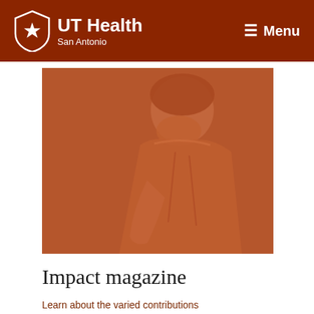UT Health San Antonio — Menu
[Figure (photo): A medical professional wearing surgical cap, mask, and scrubs, shown in profile against a warm terracotta/burnt orange background. The image has a monochromatic orange-brown tone.]
Impact magazine
Learn about the varied contributions